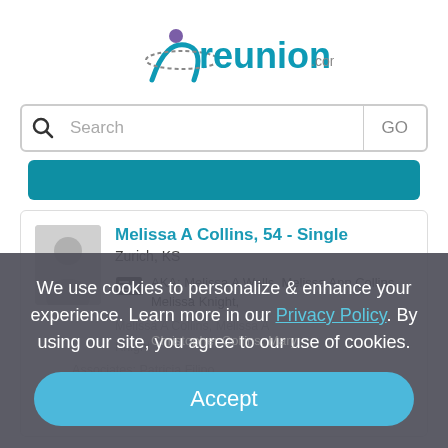[Figure (logo): reunion.com logo with teal and purple figure icon]
Search GO
[Figure (screenshot): Partially visible teal button strip at top of a result card]
Melissa A Collins, 54 - Single
Zurich, KS
AKA: Melissa A Wells, Melissa Ann Collins, Melissa Knight, Melissa A Collins, Melissa A Knight
We use cookies to personalize & enhance your experience. Learn more in our Privacy Policy. By using our site, you agree to our use of cookies.
Accept